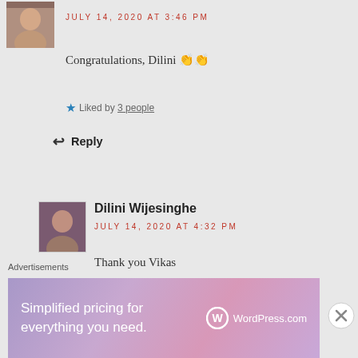[Figure (photo): Small avatar photo at top left, partial view of a person]
JULY 14, 2020 AT 3:46 PM
Congratulations, Dilini 👏👏
Liked by 3 people
Reply
[Figure (photo): Small square avatar photo of Dilini Wijesinghe]
Dilini Wijesinghe
JULY 14, 2020 AT 4:32 PM
Thank you Vikas
Liked by 1 person
Reply
Advertisements
[Figure (screenshot): WordPress.com advertisement banner: Simplified pricing for everything you need.]